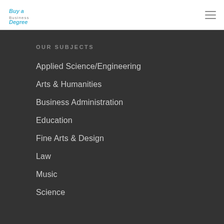Buy a Degree logo and hamburger menu
OUR SUBJECTS
Applied Science/Engineering
Arts & Humanities
Business Administration
Education
Fine Arts & Design
Law
Music
Science